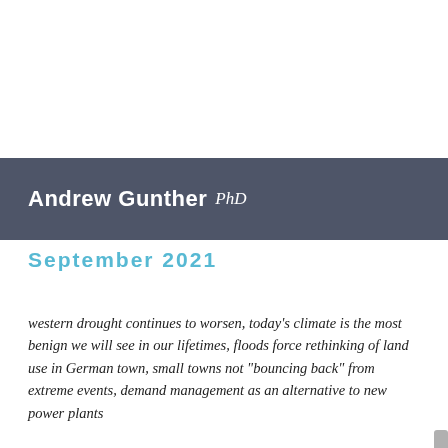Andrew Gunther PhD
September 2021
western drought continues to worsen, today's climate is the most benign we will see in our lifetimes, floods force rethinking of land use in German town, small towns not "bouncing back" from extreme events, demand management as an alternative to new power plants
The New York Times examines the future of water in the West as the flow of the Colorado River declines. The article notes